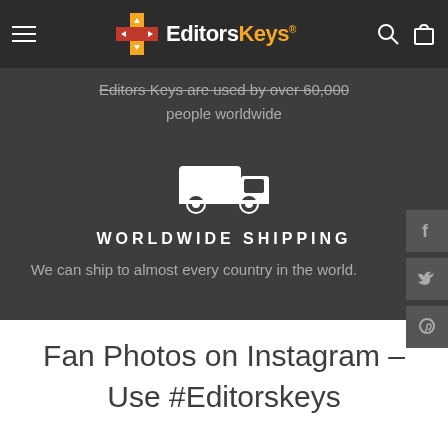Editors Keys
Editors Keys are used by over 60,000 people worldwide
[Figure (illustration): White delivery truck icon]
WORLDWIDE SHIPPING
We can ship to almost every country in the world.
Fan Photos on Instagram – Use #Editorskeys